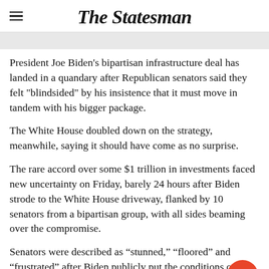The Statesman
President Joe Biden's bipartisan infrastructure deal has landed in a quandary after Republican senators said they felt "blindsided" by his insistence that it must move in tandem with his bigger package.
The White House doubled down on the strategy, meanwhile, saying it should have come as no surprise.
The rare accord over some $1 trillion in investments faced new uncertainty on Friday, barely 24 hours after Biden strode to the White House driveway, flanked by 10 senators from a bipartisan group, with all sides beaming over the compromise.
Senators were described as “stunned,” “floored” and “frustrated” after Biden publicly put the conditions on accepting their deal, according to two people familiar with the